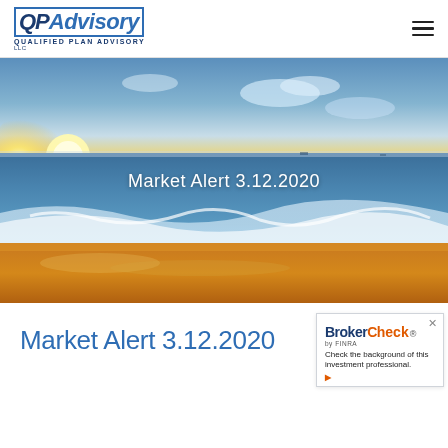[Figure (logo): QPAdvisory - Qualified Plan Advisory LLC logo with blue text and border]
[Figure (photo): Scenic beach/ocean photo at sunset with warm orange sand in foreground and blue sky with clouds in background]
Market Alert 3.12.2020
Market Alert 3.12.2020
[Figure (other): BrokerCheck by FINRA widget - Check the background of this investment professional.]